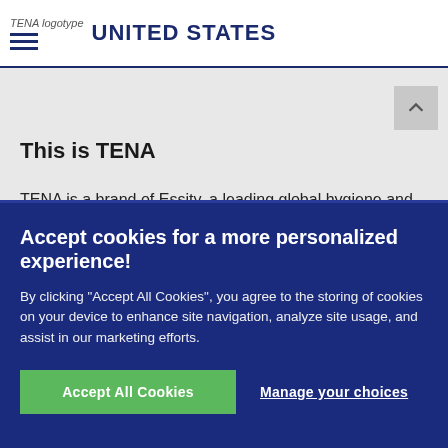TENA logotype  UNITED STATES
This is TENA
TENA is a brand of Essity, a leading global hygiene and health company. With over 60 years of experience TENA is the No 1 adult incontinence brand globally*. We offer a full
Accept cookies for a more personalized experience!

By clicking “Accept All Cookies”, you agree to the storing of cookies on your device to enhance site navigation, analyze site usage, and assist in our marketing efforts.

[Accept All Cookies] [Manage your choices]